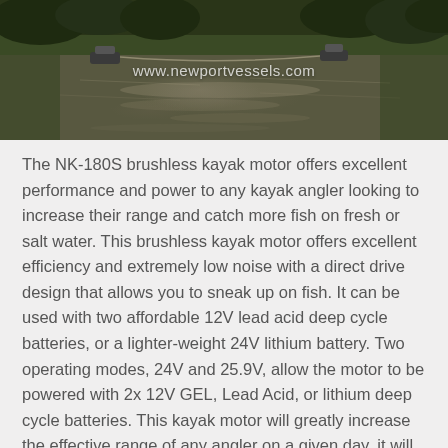[Figure (photo): Aerial or waterside photo of two boats on a dark, calm river or bayou lined with dense green vegetation. A watermark reads 'www.newportvessels.com' overlaid in white text near the center.]
The NK-180S brushless kayak motor offers excellent performance and power to any kayak angler looking to increase their range and catch more fish on fresh or salt water. This brushless kayak motor offers excellent efficiency and extremely low noise with a direct drive design that allows you to sneak up on fish. It can be used with two affordable 12V lead acid deep cycle batteries, or a lighter-weight 24V lithium battery. Two operating modes, 24V and 25.9V, allow the motor to be powered with 2x 12V GEL, Lead Acid, or lithium deep cycle batteries. This kayak motor will greatly increase the effective range of any angler on a given day, it will bolt directly to a 4 bolt PowerPole style stern mount, or can be installed into the deck of a kayak (see fitment guide here). The mount pivots freely to pass over underwater obstacles, but the durable aluminum